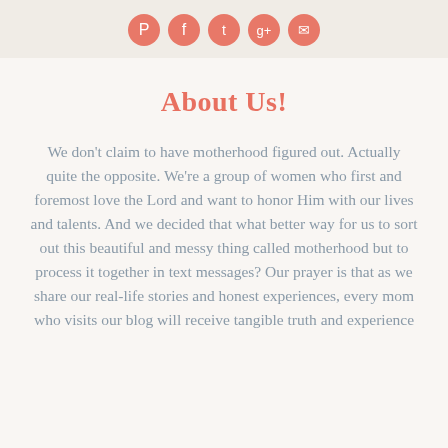[social icons: Pinterest, Facebook, Twitter, Google+, Email]
About Us!
We don't claim to have motherhood figured out. Actually quite the opposite. We're a group of women who first and foremost love the Lord and want to honor Him with our lives and talents. And we decided that what better way for us to sort out this beautiful and messy thing called motherhood but to process it together in text messages? Our prayer is that as we share our real-life stories and honest experiences, every mom who visits our blog will receive tangible truth and experience